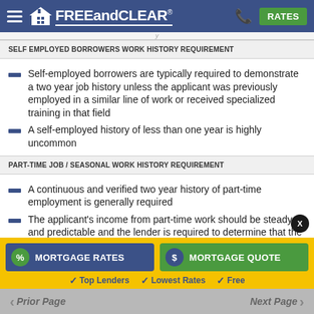FREEandCLEAR® — RATES
SELF EMPLOYED BORROWERS WORK HISTORY REQUIREMENT
Self-employed borrowers are typically required to demonstrate a two year job history unless the applicant was previously employed in a similar line of work or received specialized training in that field
A self-employed history of less than one year is highly uncommon
PART-TIME JOB / SEASONAL WORK HISTORY REQUIREMENT
A continuous and verified two year history of part-time employment is generally required
The applicant's income from part-time work should be steady and predictable and the lender is required to determine that the work will
MORTGAGE RATES — Top Lenders | Lowest Rates | Free
MORTGAGE QUOTE
Prior Page   Next Page